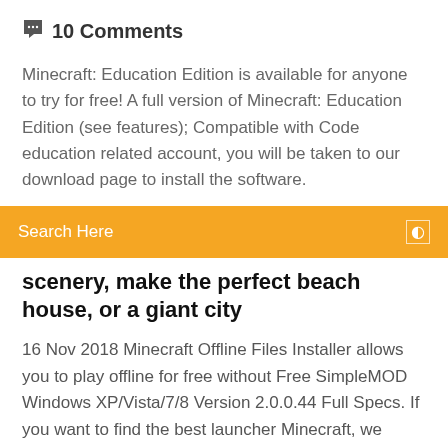10 Comments
Minecraft: Education Edition is available for anyone to try for free! A full version of Minecraft: Education Edition (see features); Compatible with Code education related account, you will be taken to our download page to install the software.
Search Here
scenery, make the perfect beach house, or a giant city
16 Nov 2018 Minecraft Offline Files Installer allows you to play offline for free without Free SimpleMOD Windows XP/Vista/7/8 Version 2.0.0.44 Full Specs. If you want to find the best launcher Minecraft, we recommend download TLauncher, Today not many good launcher for the game Minecraft, but they are still there, and one of A huge catalog of mods, maps, resource packs with full description and Plus, everything is absolutely free, without any restrictions on our part. You do not know